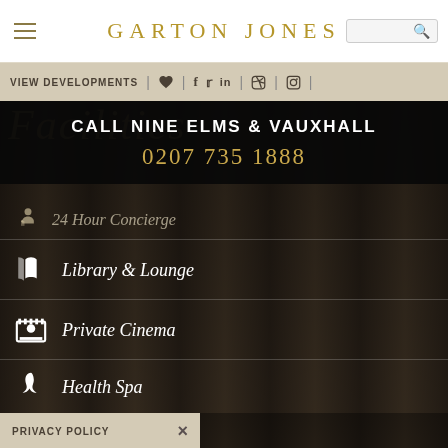GARTON JONES
VIEW DEVELOPMENTS | social icons | search
Facilities
CALL NINE ELMS & VAUXHALL
0207 735 1888
24 Hour Concierge
Library & Lounge
Private Cinema
Health Spa
Gymnasium
Yoga Studio
PRIVACY POLICY
OUR FEES
WE USE COOKIES
Contact Us | Site by Moot